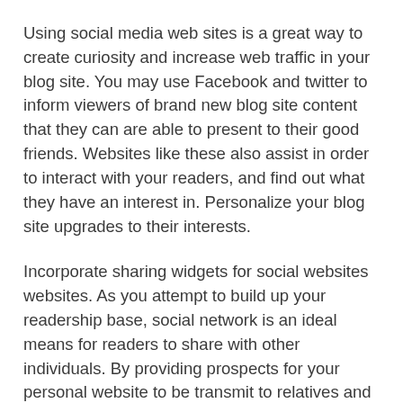Using social media web sites is a great way to create curiosity and increase web traffic in your blog site. You may use Facebook and twitter to inform viewers of brand new blog site content that they can are able to present to their good friends. Websites like these also assist in order to interact with your readers, and find out what they have an interest in. Personalize your blog site upgrades to their interests.
Incorporate sharing widgets for social websites websites. As you attempt to build up your readership base, social network is an ideal means for readers to share with other individuals. By providing prospects for your personal website to be transmit to relatives and buddies, you may generate your follower foundation up substantially.
Make sure that you are blogging for the ideal reasons. Should you be looking for many speedy funds, this may not be the way to go. Writing a blog must be even more of a hobby. If